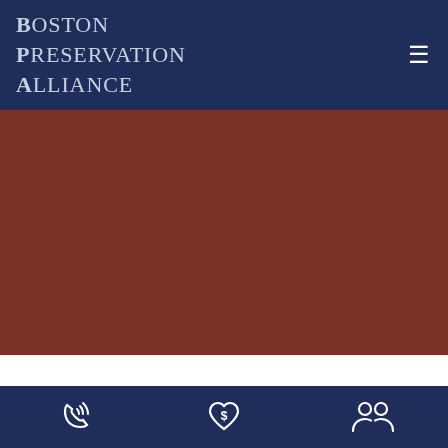Boston Preservation Alliance
[Figure (photo): Large brownish-red image placeholder area]
< previous  |  next >
Icons: phone, donate, members